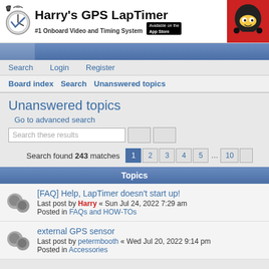[Figure (logo): Harry's GPS LapTimer logo with #1 Onboard Video and Timing System tagline, App Store badge, and racing driver mascot]
Search  Login  Register
Board index  Search  Unanswered topics
Unanswered topics
Go to advanced search
Search these results
Search found 243 matches  1 2 3 4 5 ... 10
Topics
[FAQ] Help, LapTimer doesn't start up!
Last post by Harry « Sun Jul 24, 2022 7:29 am
Posted in FAQs and HOW-TOs
external GPS sensor
Last post by petermbooth « Wed Jul 20, 2022 9:14 pm
Posted in Accessories